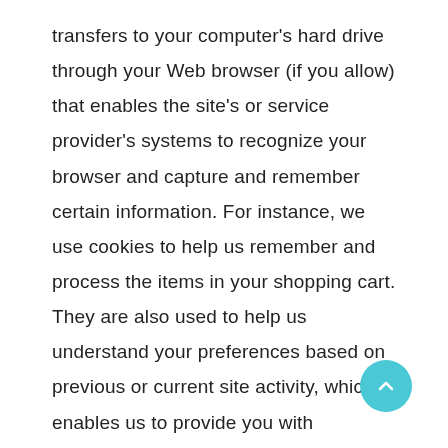transfers to your computer's hard drive through your Web browser (if you allow) that enables the site's or service provider's systems to recognize your browser and capture and remember certain information. For instance, we use cookies to help us remember and process the items in your shopping cart. They are also used to help us understand your preferences based on previous or current site activity, which enables us to provide you with improved services. We also use cookies to help us compile aggregate data about site traffic and site interaction so that we can offer better site experiences and tools in the future. We may contract with third-party service providers to assist us in better understanding our site visitors. These service providers are not permitted to use the information collected on our behalf except to help us conduct and improve our business. You can choose to have your computer warn you each time a cookie is being sent, or you can